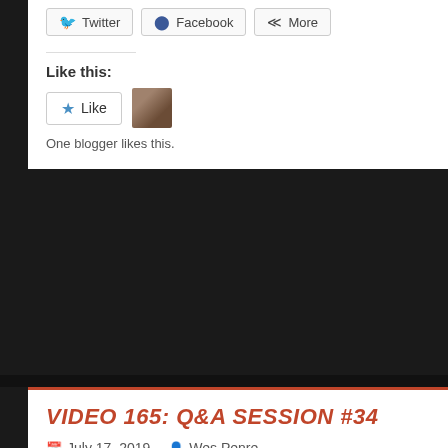Twitter | Facebook | More
Like this:
One blogger likes this.
VIDEO 165: Q&A SESSION #34
July 17, 2019   Wes Penre
QUESTION 6: Is there any community or location of nature-loving people being built to prepare for the Nibiru catastrophe? Or a society that is independent
Continue reading »